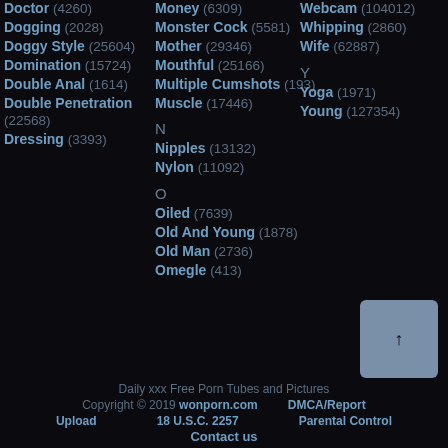Doctor (4260)
Dogging (2028)
Doggy Style (25604)
Domination (15724)
Double Anal (1614)
Double Penetration (22568)
Dressing (3393)
Money (6309)
Monster Cock (5581)
Mother (29346)
Mouthful (25166)
Multiple Cumshots (193)
Muscle (17446)
N
Nipples (13132)
Nylon (11092)
O
Oiled (7639)
Old And Young (1878)
Old Man (2736)
Omegle (413)
Webcam (104012)
Whipping (2860)
Wife (62887)
Y
Yoga (1971)
Young (127354)
Daily xxx Free Porn Tubes and Pictures
Copyright © 2019 wonporn.com DMCA/Report
Upload 18 U.S.C. 2257 Parental Control
Contact us